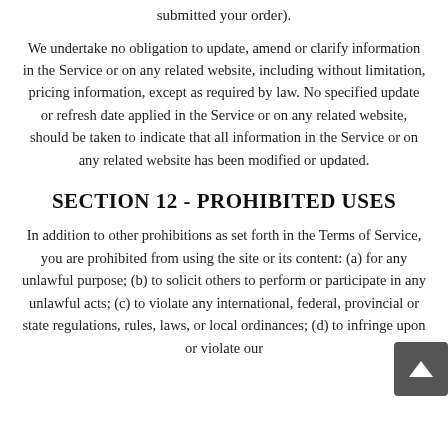submitted your order).
We undertake no obligation to update, amend or clarify information in the Service or on any related website, including without limitation, pricing information, except as required by law. No specified update or refresh date applied in the Service or on any related website, should be taken to indicate that all information in the Service or on any related website has been modified or updated.
SECTION 12 - PROHIBITED USES
In addition to other prohibitions as set forth in the Terms of Service, you are prohibited from using the site or its content: (a) for any unlawful purpose; (b) to solicit others to perform or participate in any unlawful acts; (c) to violate any international, federal, provincial or state regulations, rules, laws, or local ordinances; (d) to infringe upon or violate our